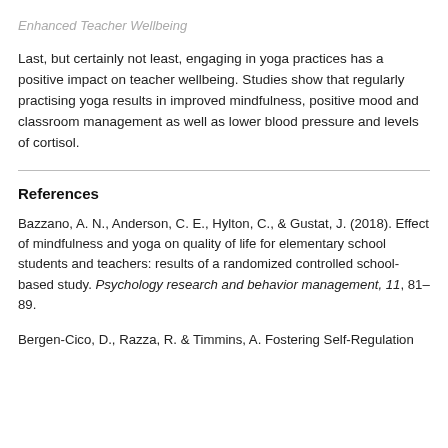Enhanced Teacher Wellbeing
Last, but certainly not least, engaging in yoga practices has a positive impact on teacher wellbeing. Studies show that regularly practising yoga results in improved mindfulness, positive mood and classroom management as well as lower blood pressure and levels of cortisol.
References
Bazzano, A. N., Anderson, C. E., Hylton, C., & Gustat, J. (2018). Effect of mindfulness and yoga on quality of life for elementary school students and teachers: results of a randomized controlled school-based study. Psychology research and behavior management, 11, 81–89.
Bergen-Cico, D., Razza, R. & Timmins, A. Fostering Self-Regulation